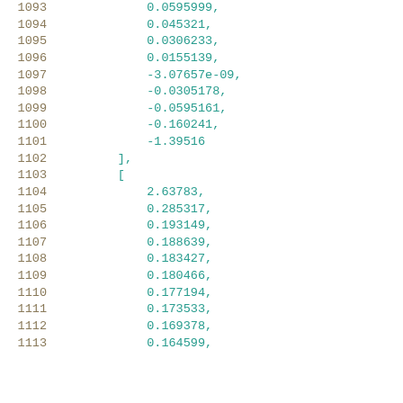1093    0.0595999,
1094    0.045321,
1095    0.0306233,
1096    0.0155139,
1097    -3.07657e-09,
1098    -0.0305178,
1099    -0.0595161,
1100    -0.160241,
1101    -1.39516
1102    ],
1103    [
1104    2.63783,
1105    0.285317,
1106    0.193149,
1107    0.188639,
1108    0.183427,
1109    0.180466,
1110    0.177194,
1111    0.173533,
1112    0.169378,
1113    0.164599,